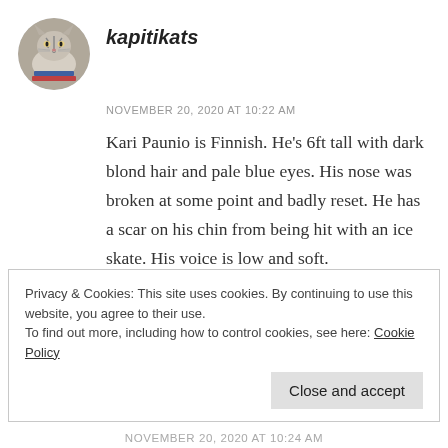[Figure (photo): Circular avatar photo of a cat (tabby cat) on a dark background]
kapitikats
NOVEMBER 20, 2020 AT 10:22 AM
Kari Paunio is Finnish. He's 6ft tall with dark blond hair and pale blue eyes. His nose was broken at some point and badly reset. He has a scar on his chin from being hit with an ice skate. His voice is low and soft.
REPLY
Privacy & Cookies: This site uses cookies. By continuing to use this website, you agree to their use.
To find out more, including how to control cookies, see here: Cookie Policy
Close and accept
NOVEMBER 20, 2020 AT 10:24 AM